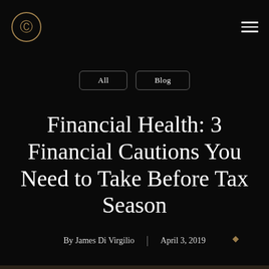All
Blog
Financial Health: 3 Financial Cautions You Need to Take Before Tax Season
By James Di Virgilio | April 3, 2019